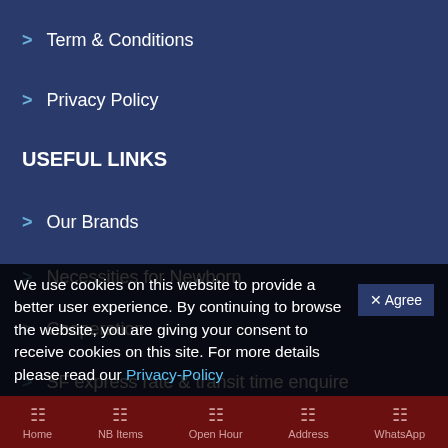> Term & Conditions
> Privacy Policy
USEFUL LINKS
> Our Brands
> Necessities for Newborn
> Cooperation
> SF express rate & transit time enquire
> SF Service Point Enquire
> SF Packing Materials
> Pickup location, SF Weight and Size Restriction
We use cookies on this website to provide a better user experience. By continuing to browse the website, you are giving your consent to receive cookies on this site. For more details please read our Privacy-Policy
Home | NB Items | Open Hour | Address | WhatsApp